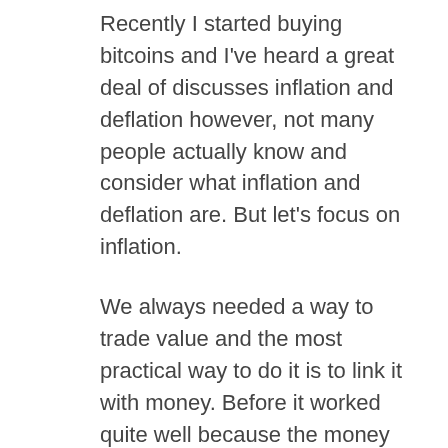Recently I started buying bitcoins and I've heard a great deal of discusses inflation and deflation however, not many people actually know and consider what inflation and deflation are. But let's focus on inflation.
We always needed a way to trade value and the most practical way to do it is to link it with money. Before it worked quite well because the money that was issued was associated with gold. So every central bank needed enough gold to pay back all of the money it issued. However, in past times century this changed and gold isn't what's giving value to money but promises. As possible guess it's very easy to abuse to such power and certainly the major central banks aren't renouncing to do so. For this reason they are